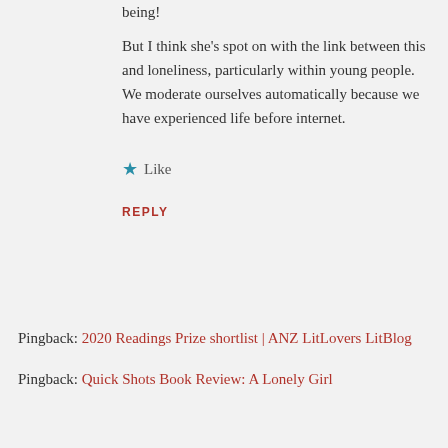being! But I think she's spot on with the link between this and loneliness, particularly within young people. We moderate ourselves automatically because we have experienced life before internet.
★ Like
REPLY
Pingback: 2020 Readings Prize shortlist | ANZ LitLovers LitBlog
Pingback: Quick Shots Book Review: A Lonely Girl